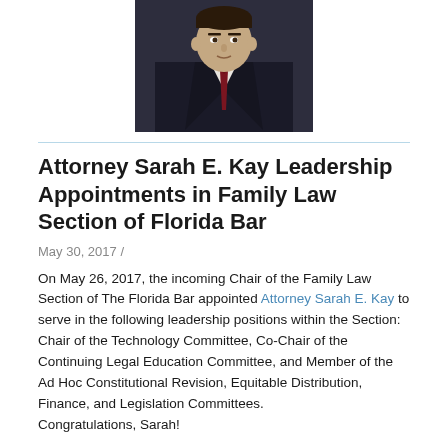[Figure (photo): Professional headshot of a man in a dark suit and dark red tie against a dark background]
Attorney Sarah E. Kay Leadership Appointments in Family Law Section of Florida Bar
May 30, 2017 /
On May 26, 2017, the incoming Chair of the Family Law Section of The Florida Bar appointed Attorney Sarah E. Kay to serve in the following leadership positions within the Section: Chair of the Technology Committee, Co-Chair of the Continuing Legal Education Committee, and Member of the Ad Hoc Constitutional Revision, Equitable Distribution, Finance, and Legislation Committees. Congratulations, Sarah!